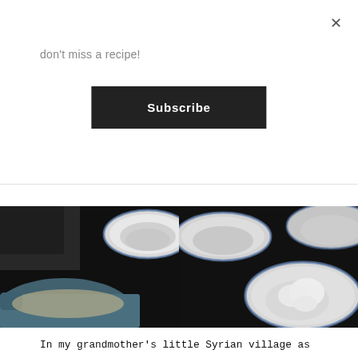don't miss a recipe!
Subscribe
[Figure (photo): Two black and white food photography images side by side showing bowls of food/ingredients, including what appears to be a blue dutch oven pot on the left and ceramic bowls with white contents on the right.]
In my grandmother's little Syrian village as well in the bustling Baghdad of my grandfather's childhood, families would make dikhwa at home for dinner and holidays. But during my grandmother's brief time in Beirut, dikhwa was a community event. At Christmas and Easter, the